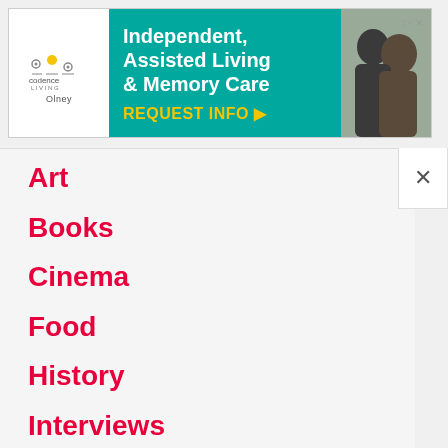[Figure (screenshot): Advertisement banner for Codence Living Olney - Independent, Assisted Living & Memory Care with REQUEST INFO button and photo of two elderly people]
Art
Books
Cinema
Food
History
Interviews
Music
News
Photos
Science
Trends & Design